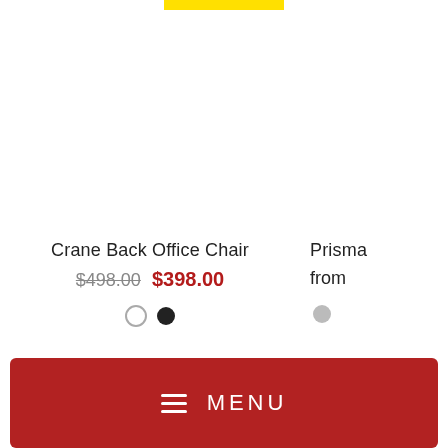[Figure (screenshot): Yellow bar at top center of page, partial UI element]
Crane Back Office Chair
$498.00  $398.00
Prisma
from
≡ MENU